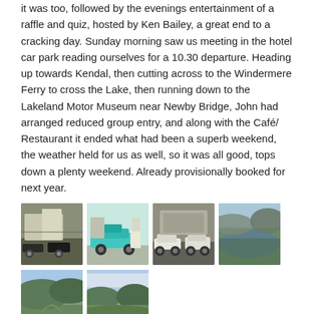it was too, followed by the evenings entertainment of a raffle and quiz, hosted by Ken Bailey, a great end to a cracking day. Sunday morning saw us meeting in the hotel car park reading ourselves for a 10.30 departure. Heading up towards Kendal, then cutting across to the Windermere Ferry to cross the Lake, then running down to the Lakeland Motor Museum near Newby Bridge, John had arranged reduced group entry, and along with the Café/ Restaurant it ended what had been a superb weekend, the weather held for us as well, so it was all good, tops down a plenty weekend. Already provisionally booked for next year.
[Figure (photo): Classic cars parked in hotel car park with building in background]
[Figure (photo): Turquoise/teal classic American car with people around it]
[Figure (photo): White classic cars parked in front of a building]
[Figure (photo): Lake and green hillside landscape view]
[Figure (photo): Mountain road winding through green hills]
[Figure (photo): Valley and hills landscape with blue sky and clouds]